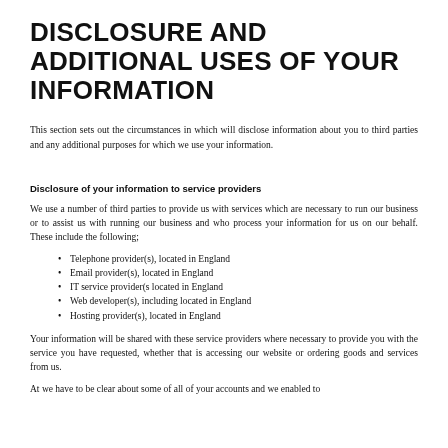DISCLOSURE AND ADDITIONAL USES OF YOUR INFORMATION
This section sets out the circumstances in which will disclose information about you to third parties and any additional purposes for which we use your information.
Disclosure of your information to service providers
We use a number of third parties to provide us with services which are necessary to run our business or to assist us with running our business and who process your information for us on our behalf. These include the following;
Telephone provider(s), located in England
Email provider(s), located in England
IT service provider(s located in England
Web developer(s), including located in England
Hosting provider(s), located in England
Your information will be shared with these service providers where necessary to provide you with the service you have requested, whether that is accessing our website or ordering goods and services from us.
At we have to be clear about some of all of your accounts and we enabled to